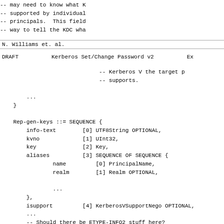-- may need to know what K
-- supported by individual
-- principals.  This field
-- way to tell the KDC wha
N. Williams et. al.
DRAFT          Kerberos Set/Change Password v2          Ex
-- Kerberos V the target p
-- supports.

    ...
}
Rep-gen-keys ::= SEQUENCE {
    info-text        [0] UTF8String OPTIONAL,
    kvno             [1] UInt32,
    key              [2] Key,
    aliases          [3] SEQUENCE OF SEQUENCE {
            name         [0] PrincipalName,
            realm        [1] Realm OPTIONAL,

            ...
    },
    isupport         [4] KerberosVSupportNego OPTIONAL,
    ...
    -- Should there be ETYPE-INFO2 stuff here?
}
Err-gen-keys ::= Err-set-keys